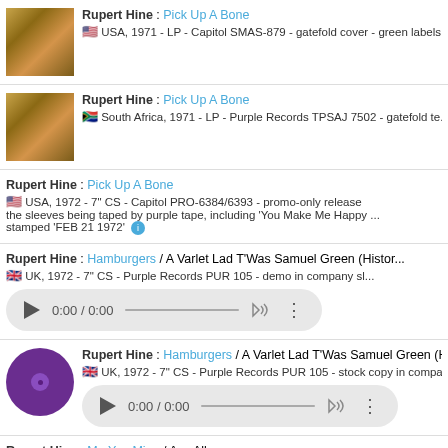Rupert Hine : Pick Up A Bone — USA, 1971 - LP - Capitol SMAS-879 - gatefold cover - green labels
Rupert Hine : Pick Up A Bone — South Africa, 1971 - LP - Purple Records TPSAJ 7502 - gatefold te...
Rupert Hine : Pick Up A Bone — USA, 1972 - 7" CS - Capitol PRO-6384/6393 - promo-only release... the sleeves being taped by purple tape, including 'You Make Me Happy ... stamped 'FEB 21 1972'
Rupert Hine : Hamburgers / A Varlet Lad T'Was Samuel Green (Histor... — UK, 1972 - 7" CS - Purple Records PUR 105 - demo in company sl...
Rupert Hine : Hamburgers / A Varlet Lad T'Was Samuel Green (Histor... — UK, 1972 - 7" CS - Purple Records PUR 105 - stock copy in compa...
Rupert Hine : Me You Mine / Ass All